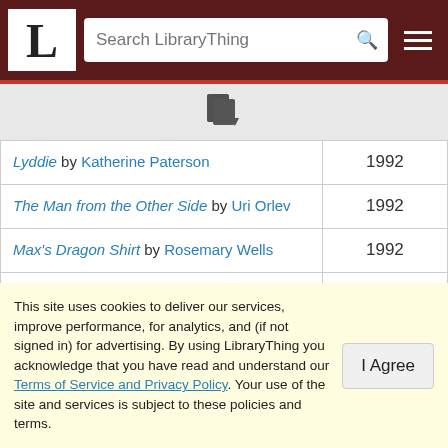LibraryThing — Search LibraryThing
[Figure (other): Sort/filter icon — two overlapping document pages with a down arrow]
| Title / Author | Year |
| --- | --- |
| Lyddie by Katherine Paterson | 1992 |
| The Man from the Other Side by Uri Orlev | 1992 |
| Max's Dragon Shirt by Rosemary Wells | 1992 |
| Monkey Island by Paula Fox | 1992 |
| Night on Neighborhood Street by Eloise Greenfield | 1992 |
| Nothing but the Truth by Avi | 1992 |
| Now is Your Time! : The African American… |  |
This site uses cookies to deliver our services, improve performance, for analytics, and (if not signed in) for advertising. By using LibraryThing you acknowledge that you have read and understand our Terms of Service and Privacy Policy. Your use of the site and services is subject to these policies and terms.